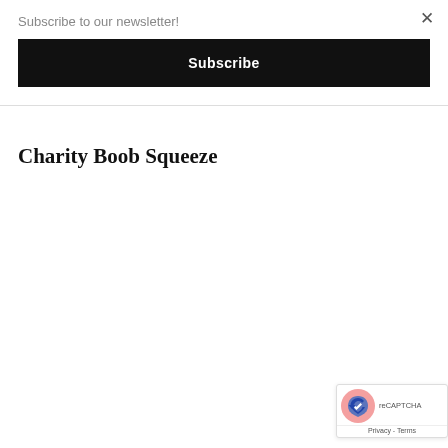Subscribe to our newsletter!
Subscribe
Charity Boob Squeeze
[Figure (logo): Google reCAPTCHA badge with logo and Privacy - Terms links]